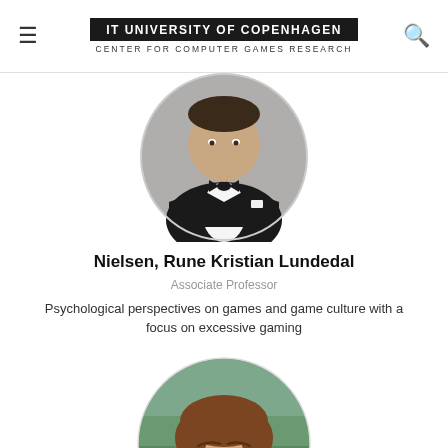IT UNIVERSITY OF COPENHAGEN | CENTER FOR COMPUTER GAMES RESEARCH
[Figure (photo): Circular cropped headshot of a man in a black tuxedo with bow tie, formal attire, grey background]
Nielsen, Rune Kristian Lundedal
Associate Professor
Psychological perspectives on games and game culture with a focus on excessive gaming
[Figure (photo): Circular cropped headshot of a young man with brown hair, smiling, wearing casual clothing, outdoor background]